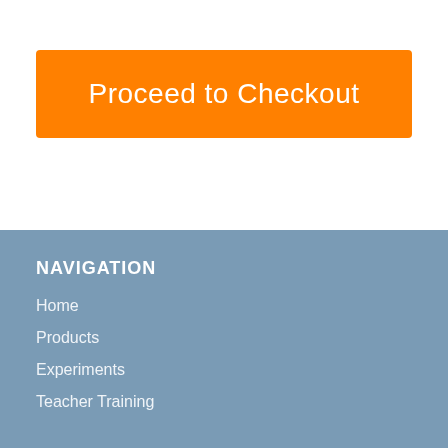[Figure (screenshot): Orange 'Proceed to Checkout' button on white background]
NAVIGATION
Home
Products
Experiments
Teacher Training